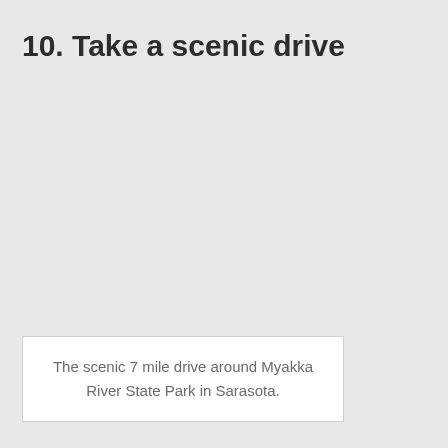10. Take a scenic drive
The scenic 7 mile drive around Myakka River State Park in Sarasota.